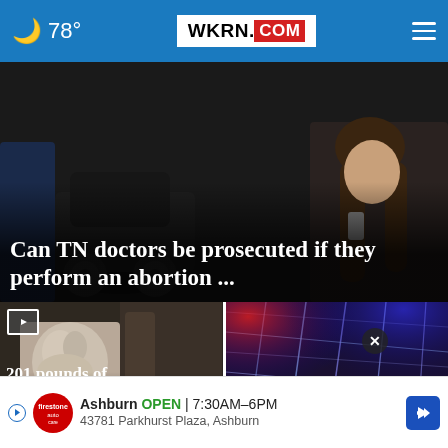🌙 78° WKRN.COM
[Figure (screenshot): Hero image showing a dark scene with a car and a woman with long dark hair posing with a phone. Overlay text reads: Can TN doctors be prosecuted if they perform an abortion ...]
Can TN doctors be prosecuted if they perform an abortion ...
[Figure (photo): Left card image showing what appears to be a white powdery substance or sculpture. Overlay text: 201 pounds of ma... sei... following]
[Figure (photo): Right card image showing a cracked/shattered glass surface with blue and purple police light reflections. Overlay text: Pri... di... electrica pole]
Ashburn OPEN 7:30AM-6PM 43781 Parkhurst Plaza, Ashburn